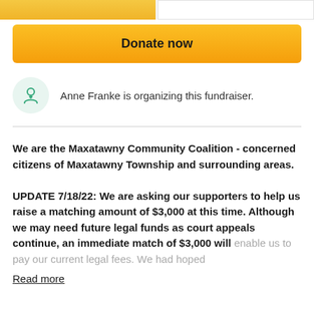[Figure (screenshot): Top partial button row with orange left button and white right button]
Donate now
Anne Franke is organizing this fundraiser.
We are the Maxatawny Community Coalition - concerned citizens of Maxatawny Township and surrounding areas.

UPDATE 7/18/22: We are asking our supporters to help us raise a matching amount of $3,000 at this time. Although we may need future legal funds as court appeals continue, an immediate match of $3,000 will enable us to pay our current legal fees. We had hoped
Read more